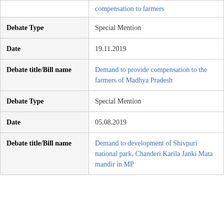| Field | Value |
| --- | --- |
|  | compensation to farmers |
| Debate Type | Special Mention |
| Date | 19.11.2019 |
| Debate title/Bill name | Demand to provide compensation to the farmers of Madhya Pradesh |
| Debate Type | Special Mention |
| Date | 05.08.2019 |
| Debate title/Bill name | Demand to development of Shivpuri national park, Chanderi Karila Janki Mata mandir in MP |